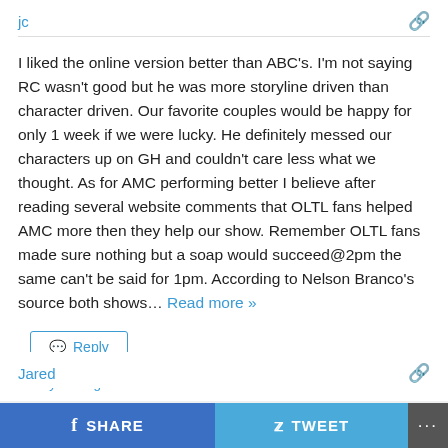jc
I liked the online version better than ABC's. I'm not saying RC wasn't good but he was more storyline driven than character driven. Our favorite couples would be happy for only 1 week if we were lucky. He definitely messed our characters up on GH and couldn't care less what we thought. As for AMC performing better I believe after reading several website comments that OLTL fans helped AMC more then they help our show. Remember OLTL fans made sure nothing but a soap would succeed@2pm the same can't be said for 1pm. According to Nelson Branco's source both shows… Read more »
Reply
8 years ago
Jared